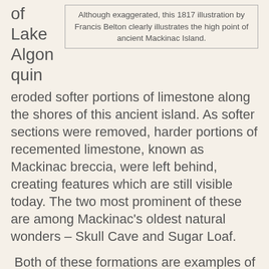of
Lake
Algon
quin
Although exaggerated, this 1817 illustration by Francis Belton clearly illustrates the high point of ancient Mackinac Island.
eroded softer portions of limestone along the shores of this ancient island. As softer sections were removed, harder portions of recemented limestone, known as Mackinac breccia, were left behind, creating features which are still visible today. The two most prominent of these are among Mackinac’s oldest natural wonders – Skull Cave and Sugar Loaf.
Both of these formations are examples of sea stacks which resisted the erosive power of Lake Algonquin waves. These pillars of breccia became separated from the ancient island as softer rock was gradually washed away. Both features also include caves, which were slowly excavated by the pounding surf, thousands of years ago.